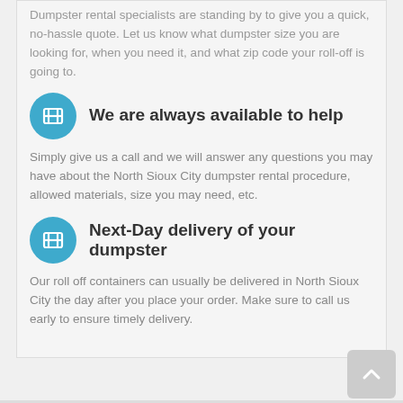Dumpster rental specialists are standing by to give you a quick, no-hassle quote. Let us know what dumpster size you are looking for, when you need it, and what zip code your roll-off is going to.
We are always available to help
Simply give us a call and we will answer any questions you may have about the North Sioux City dumpster rental procedure, allowed materials, size you may need, etc.
Next-Day delivery of your dumpster
Our roll off containers can usually be delivered in North Sioux City the day after you place your order. Make sure to call us early to ensure timely delivery.